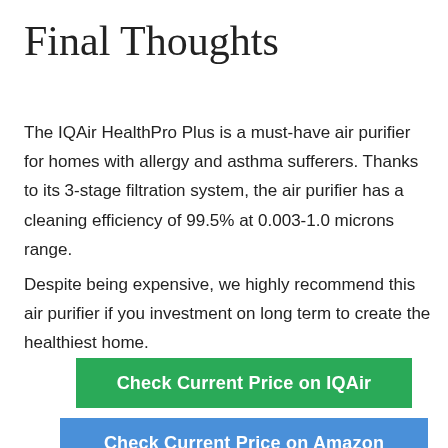Final Thoughts
The IQAir HealthPro Plus is a must-have air purifier for homes with allergy and asthma sufferers. Thanks to its 3-stage filtration system, the air purifier has a cleaning efficiency of 99.5% at 0.003-1.0 microns range.
Despite being expensive, we highly recommend this air purifier if you investment on long term to create the healthiest home.
Check Current Price on IQAir
Check Current Price on Amazon